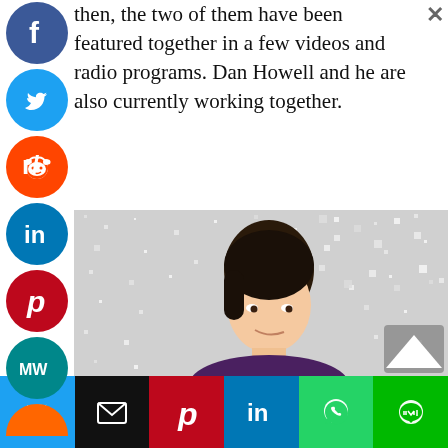then, the two of them have been featured together in a few videos and radio programs. Dan Howell and he are also currently working together.
[Figure (photo): Photo of a young man with dark hair against a sparkly/glittery background, wearing a dark purple top]
[Figure (infographic): Social media share buttons sidebar: Facebook, Twitter, Reddit, LinkedIn, Pinterest, ManyWiki, and one more icon]